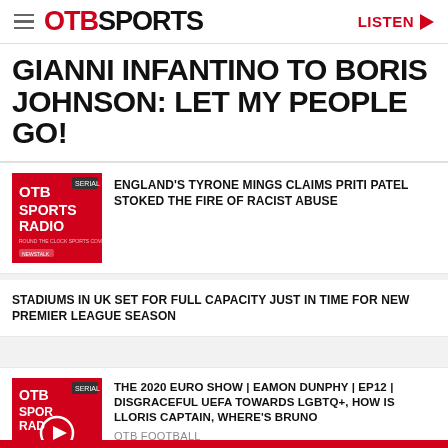OTB SPORTS | LISTEN
GIANNI INFANTINO TO BORIS JOHNSON: LET MY PEOPLE GO!
ENGLAND'S TYRONE MINGS CLAIMS PRITI PATEL STOKED THE FIRE OF RACIST ABUSE
STADIUMS IN UK SET FOR FULL CAPACITY JUST IN TIME FOR NEW PREMIER LEAGUE SEASON
THE 2020 EURO SHOW | EAMON DUNPHY | EP12 | DISGRACEFUL UEFA TOWARDS LGBTQ+, HOW IS LLORIS CAPTAIN, WHERE'S BRUNO
OTB FOOTBALL
00:55:00